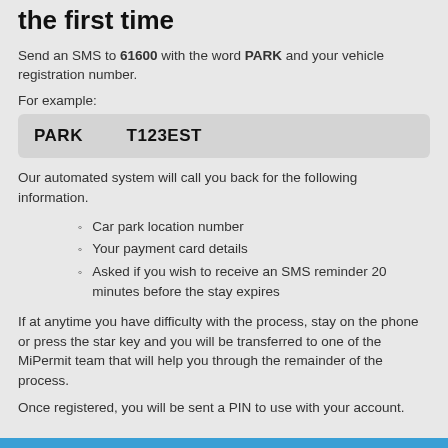the first time
Send an SMS to 61600 with the word PARK and your vehicle registration number.
For example:
[Figure (other): SMS example box showing: PARK   T123EST]
Our automated system will call you back for the following information.
Car park location number
Your payment card details
Asked if you wish to receive an SMS reminder 20 minutes before the stay expires
If at anytime you have difficulty with the process, stay on the phone or press the star key and you will be transferred to one of the MiPermit team that will help you through the remainder of the process.
Once registered, you will be sent a PIN to use with your account.